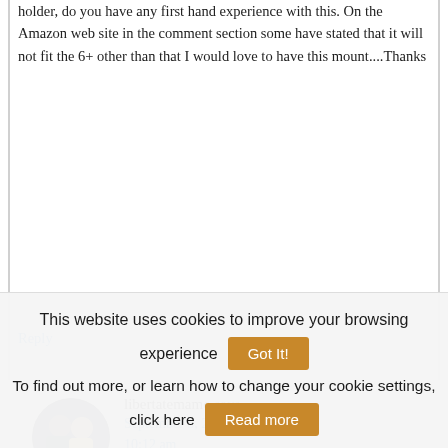holder, do you have any first hand experience with this. On the Amazon web site in the comment section some have stated that it will not fit the 6+ other than that I would love to have this mount....Thanks
Reply
libertatemamo says September 5, 2015 at 10:12 am
Can't say for sure. It fits Paul's iPhone
This website uses cookies to improve your browsing experience   [Got It!]
To find out more, or learn how to change your cookie settings, click here   [Read more]